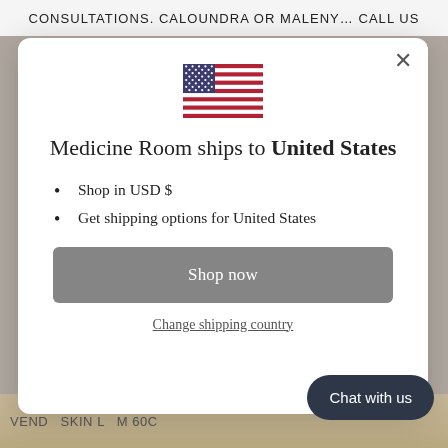CONSULTATIONS. CALOUNDRA OR MALENY… call us
[Figure (illustration): US flag SVG illustration]
Medicine Room ships to United States
Shop in USD $
Get shipping options for United States
Shop now
Change shipping country
Chat with us